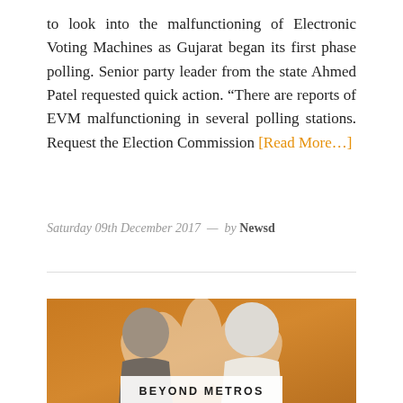to look into the malfunctioning of Electronic Voting Machines as Gujarat began its first phase polling. Senior party leader from the state Ahmed Patel requested quick action. “There are reports of EVM malfunctioning in several polling stations. Request the Election Commission [Read More…]
Saturday 09th December 2017  —  by Newsd
[Figure (photo): Two men facing each other and smiling against an orange BJP background with lotus symbol. A white caption bar at the bottom reads 'BEYOND METROS'.]
BEYOND METROS